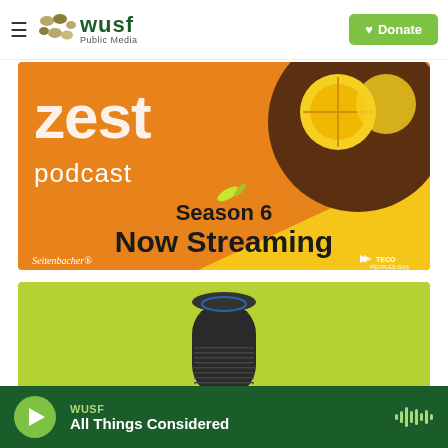WUSF Public Media — Donate
[Figure (illustration): Zest podcast Season 6 Now Streaming banner ad with orange and yellow background, lemon image, Seitenbacher and TECO Peoples Gas sponsor logos]
[Figure (illustration): Amazon Echo smart speaker on lime-green background]
WUSF — All Things Considered (audio player bar)